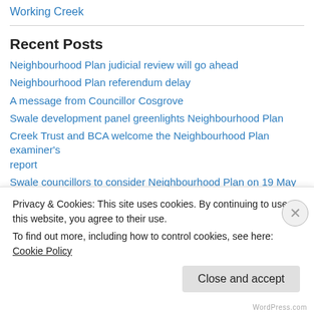Working Creek
Recent Posts
Neighbourhood Plan judicial review will go ahead
Neighbourhood Plan referendum delay
A message from Councillor Cosgrove
Swale development panel greenlights Neighbourhood Plan
Creek Trust and BCA welcome the Neighbourhood Plan examiner's report
Swale councillors to consider Neighbourhood Plan on 19 May
Neighbourhood Plan: the examiner's report
Privacy & Cookies: This site uses cookies. By continuing to use this website, you agree to their use. To find out more, including how to control cookies, see here: Cookie Policy
Close and accept